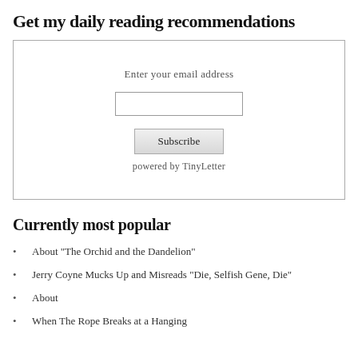Get my daily reading recommendations
[Figure (other): Email subscription form with label 'Enter your email address', an input field, a Subscribe button, and 'powered by TinyLetter' text]
Currently most popular
About "The Orchid and the Dandelion"
Jerry Coyne Mucks Up and Misreads "Die, Selfish Gene, Die"
About
When The Rope Breaks at a Hanging